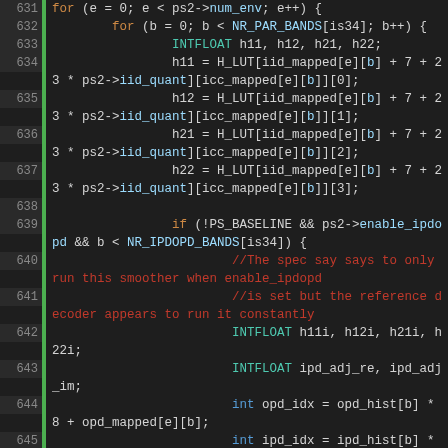[Figure (screenshot): Source code listing in a dark IDE theme showing C code lines 631-649, with syntax highlighting: keywords in orange, type names in teal, variables in blue, comments in red, line numbers in gray on dark background.]